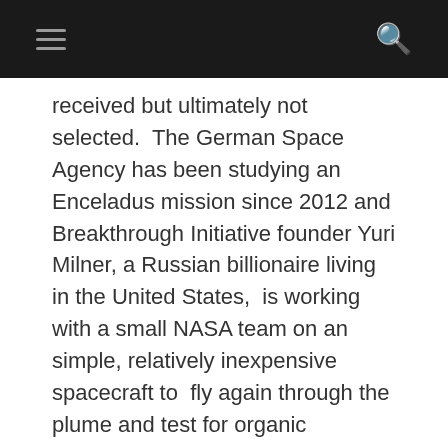received but ultimately not selected.  The German Space Agency has been studying an Enceladus mission since 2012 and Breakthrough Initiative founder Yuri Milner, a Russian billionaire living in the United States,  is working with a small NASA team on an simple, relatively inexpensive spacecraft to  fly again through the plume and test for organic compounds and possibly by-products of biology.
In effect, Milner and his colleagues believe the possibility of finding life on Enceladus is scientifically too tempting to wait for a full NASA effort — which appears unlikely while the costly Europa Clipper mission is under development.